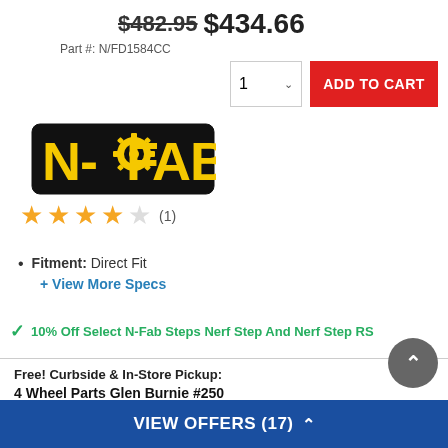$482.95 $434.66
Part #: N/FD1584CC
[Figure (logo): N-Fab brand logo in yellow and black]
1 ∨  ADD TO CART
★★★★☆ (1)
Fitment: Direct Fit
+ View More Specs
✔ 10% Off Select N-Fab Steps Nerf Step And Nerf Step RS
Free! Curbside & In-Store Pickup:
4 Wheel Parts Glen Burnie #250
Ships Directly From Manufacturer
VIEW OFFERS (17) ^